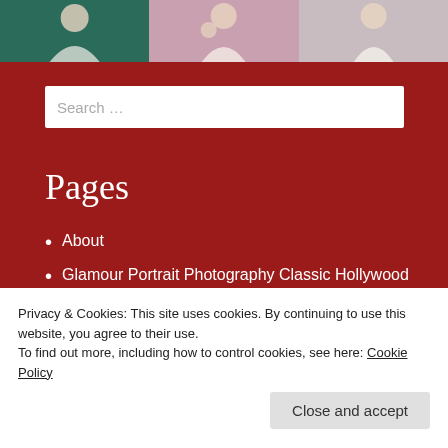[Figure (photo): Three portrait photos arranged side by side at the top of the page showing women in white/light dresses against different colored backgrounds]
Search ...
Pages
About
Glamour Portrait Photography Classic Hollywood Style in Houston!
Houston Christmas Portrait Photography Studio–
Privacy & Cookies: This site uses cookies. By continuing to use this website, you agree to their use.
To find out more, including how to control cookies, see here: Cookie Policy
Close and accept
Studio in Houston